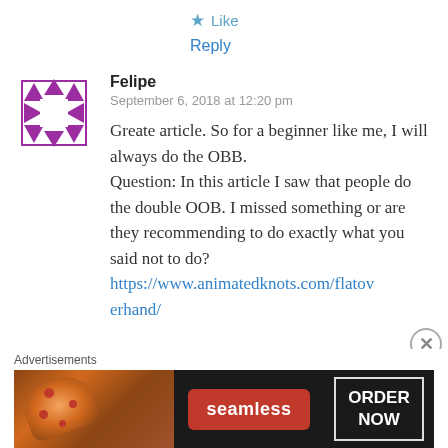★ Like
Reply
[Figure (illustration): Purple geometric avatar with triangles arranged in a square frame pattern]
Felipe
September 6, 2018 at 12:20 pm
Greate article. So for a beginner like me, I will always do the OBB.
Question: In this article I saw that people do the double OOB. I missed something or are they recommending to do exactly what you said not to do?
https://www.animatedknots.com/flatoverhand/
Advertisements
[Figure (screenshot): Seamless food delivery advertisement banner with pizza image, seamless logo, and ORDER NOW button]